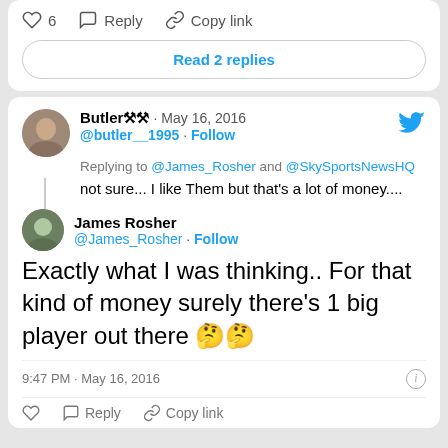6  Reply  Copy link
Read 2 replies
Butler⚒⚒ · May 16, 2016
@butler__1995 · Follow
Replying to @James_Rosher and @SkySportsNewsHQ
not sure... I like Them but that's a lot of money....
James Rosher
@James_Rosher · Follow
Exactly what I was thinking.. For that kind of money surely there's 1 big player out there 🤔🤔
9:47 PM · May 16, 2016